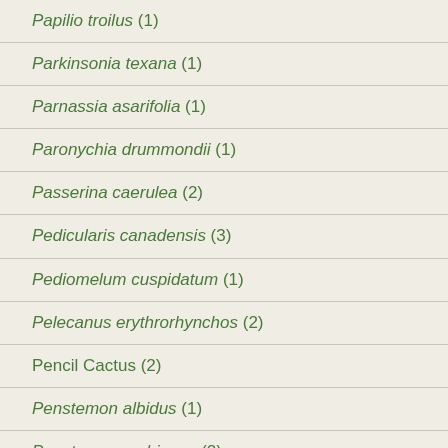Papilio troilus (1)
Parkinsonia texana (1)
Parnassia asarifolia (1)
Paronychia drummondii (1)
Passerina caerulea (2)
Pedicularis canadensis (3)
Pediomelum cuspidatum (1)
Pelecanus erythrorhynchos (2)
Pencil Cactus (2)
Penstemon albidus (1)
Penstemon ambiguus (2)
Penstemon cobaea (4)
Penstemon digitalis (1)
Penstemon guadalupensis (1)
Penstemon inflatus (1)